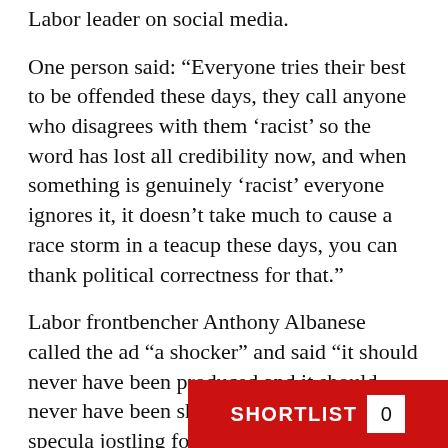Labor leader on social media.
One person said: “Everyone tries their best to be offended these days, they call anyone who disagrees with them ‘racist’ so the word has lost all credibility now, and when something is genuinely ‘racist’ everyone ignores it, it doesn’t take much to cause a race storm in a teacup these days, you can thank political correctness for that.”
Labor frontbencher Anthony Albanese called the ad “a shocker” and said “it should never have been produced and it should never have been shown”, intensifying specula... jostling for the part...